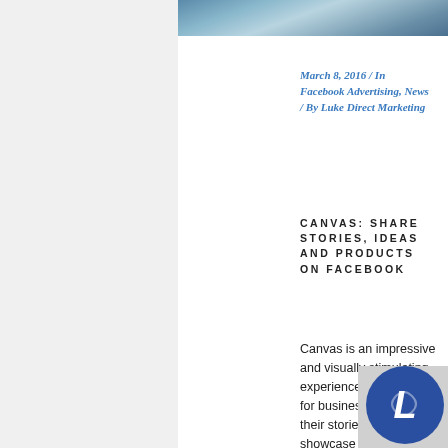[Figure (photo): Partial blue-toned abstract or sky photo at the top of the page]
March 8, 2016  /  In Facebook Advertising, News  /  By Luke Direct Marketing
CANVAS: SHARE STORIES, IDEAS AND PRODUCTS ON FACEBOOK
Canvas is an impressive and visually stimulating experience on Facebook for businesses to tell their stories and showcase their products. Bring Your Story To Life You can easily build your Canvas using a combination of videos, images and call-to-action
[Figure (logo): Luke Direct Marketing circular logo badge, dark blue background with stylized 'L' letter in white]